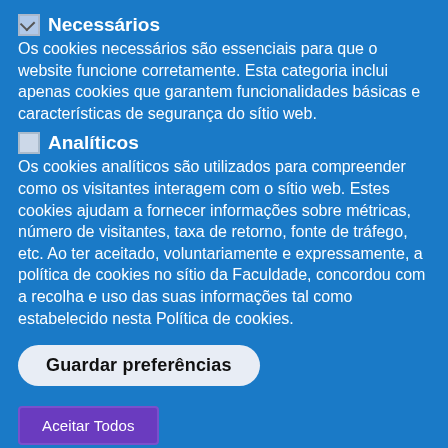✓ Necessários
Os cookies necessários são essenciais para que o website funcione corretamente. Esta categoria inclui apenas cookies que garantem funcionalidades básicas e características de segurança do sítio web.
■ Analíticos
Os cookies analíticos são utilizados para compreender como os visitantes interagem com o sítio web. Estes cookies ajudam a fornecer informações sobre métricas, número de visitantes, taxa de retorno, fonte de tráfego, etc. Ao ter aceitado, voluntariamente e expressamente, a política de cookies no sítio da Faculdade, concordou com a recolha e uso das suas informações tal como estabelecido nesta Política de cookies.
Guardar preferências
Aceitar Todos